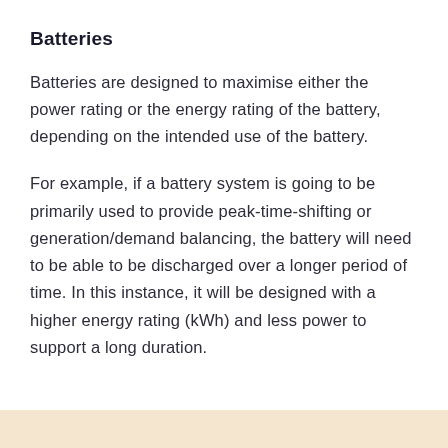Batteries
Batteries are designed to maximise either the power rating or the energy rating of the battery, depending on the intended use of the battery.
For example, if a battery system is going to be primarily used to provide peak-time-shifting or generation/demand balancing, the battery will need to be able to be discharged over a longer period of time. In this instance, it will be designed with a higher energy rating (kWh) and less power to support a long duration.